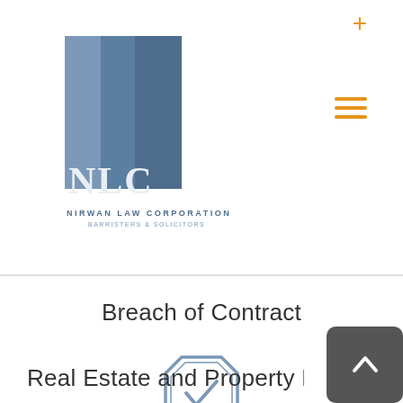[Figure (logo): NLC - Nirwan Law Corporation logo with two blue rectangular pillars and text 'NIRWAN LAW CORPORATION BARRISTERS & SOLICITORS']
Breach of Contract
[Figure (illustration): Octagonal seal/badge icon with a checkmark inside, drawn in muted blue/grey outline style]
Real Estate and Property Disputes